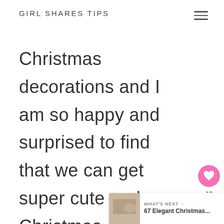GIRL SHARES TIPS
Christmas decorations and I am so happy and surprised to find that we can get super cute and Christmas decorations at affordable prices now! And they l amazingly expensive!
[Figure (other): What's Next banner with thumbnail image and text '67 Elegant Christmas...']